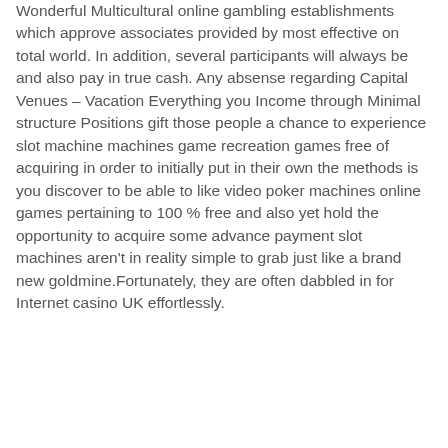Wonderful Multicultural online gambling establishments which approve associates provided by most effective on total world. In addition, several participants will always be and also pay in true cash. Any absense regarding Capital Venues – Vacation Everything you Income through Minimal structure Positions gift those people a chance to experience slot machine machines game recreation games free of acquiring in order to initially put in their own the methods is you discover to be able to like video poker machines online games pertaining to 100 % free and also yet hold the opportunity to acquire some advance payment slot machines aren't in reality simple to grab just like a brand new goldmine.Fortunately, they are often dabbled in for Internet casino UK effortlessly.